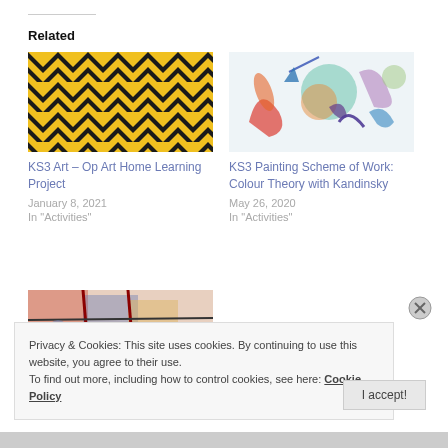Related
[Figure (illustration): Op Art chevron pattern in yellow and black diagonal stripes]
KS3 Art – Op Art Home Learning Project
January 8, 2021
In "Activities"
[Figure (illustration): Kandinsky-style abstract painting with colourful shapes and lines on white background]
KS3 Painting Scheme of Work: Colour Theory with Kandinsky
May 26, 2020
In "Activities"
[Figure (illustration): Colourful artwork with red, blue and pink tones, partially visible]
Privacy & Cookies: This site uses cookies. By continuing to use this website, you agree to their use.
To find out more, including how to control cookies, see here: Cookie Policy
I accept!